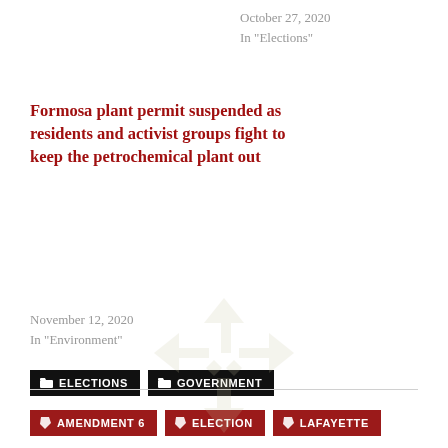October 27, 2020
In "Elections"
Formosa plant permit suspended as residents and activist groups fight to keep the petrochemical plant out
November 12, 2020
In "Environment"
ELECTIONS
GOVERNMENT
AMENDMENT 6
ELECTION
LAFAYETTE
[Figure (logo): Watermark logo in light beige/tan color, geometric abstract shape resembling a stylized compass or cross with diamond shapes]